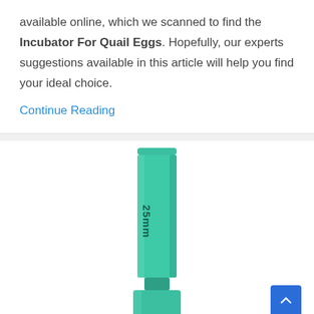available online, which we scanned to find the Incubator For Quail Eggs. Hopefully, our experts suggestions available in this article will help you find your ideal choice.
Continue Reading
[Figure (photo): A green hex socket bit labeled '25mm' on a white background, showing only the upper portion of the tool]